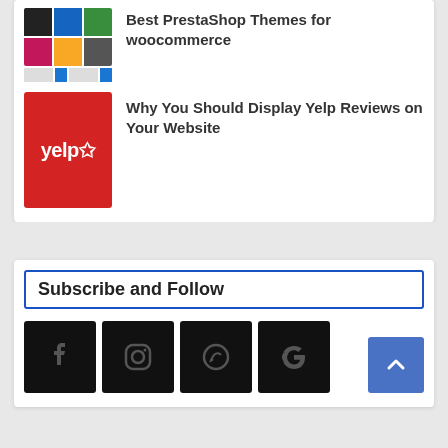Best PrestaShop Themes for woocommerce
Why You Should Display Yelp Reviews on Your Website
Subscribe and Follow
[Figure (infographic): Four social media icon buttons: Facebook, Instagram, WhatsApp, Google — dark square tiles in a row]
[Figure (other): Scroll-to-top button, blue square with upward chevron arrow]